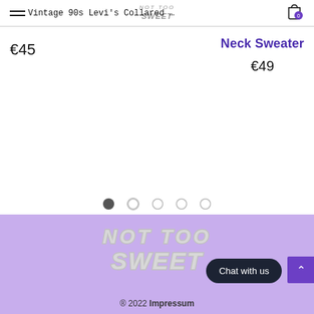Vintage 90s Levi's Collared …
[Figure (logo): Not Too Sweet stylized hand-drawn logo in nav bar]
€45
Neck Sweater
€49
[Figure (other): Carousel pagination dots, 5 dots with first active]
[Figure (logo): Not Too Sweet large metallic/silver stylized logo in purple footer]
® 2022 Impressum